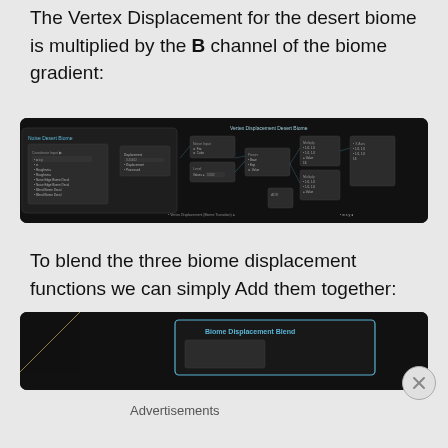The Vertex Displacement for the desert biome is multiplied by the B channel of the biome gradient:
[Figure (screenshot): Node graph showing Noise Desert Biome nodes connected to Vertex Displacement Desert Biome nodes in a dark editor interface]
To blend the three biome displacement functions we can simply Add them together:
[Figure (screenshot): Node graph showing Biome Displacement Blend group node in dark editor interface]
Advertisements